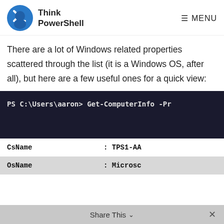Think PowerShell  ≡ MENU
There are a lot of Windows related properties scattered through the list (it is a Windows OS, after all), but here are a few useful ones for a quick view:
PS C:\Users\aaron> Get-ComputerInfo -Pr
| CsName | : TPS1-AA |
| OsName | : Microsc |